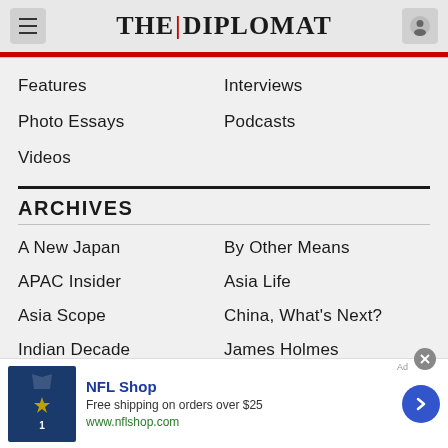THE DIPLOMAT
Features
Interviews
Photo Essays
Podcasts
Videos
ARCHIVES
A New Japan
By Other Means
APAC Insider
Asia Life
Asia Scope
China, What's Next?
Indian Decade
James Holmes
New Emissions
New Leaders Forum
[Figure (screenshot): NFL Shop advertisement banner with image of Dallas Cowboys jersey, text: NFL Shop, Free shipping on orders over $25, www.nflshop.com]